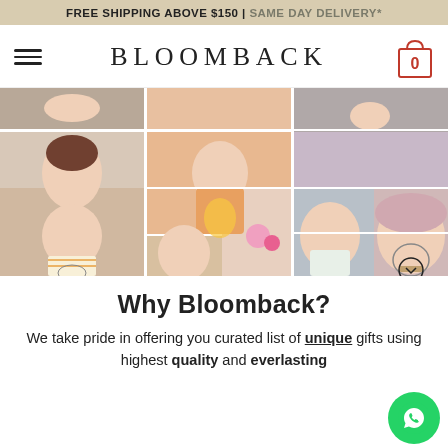FREE SHIPPING ABOVE $150 | SAME DAY DELIVERY*
BLOOMBACK
[Figure (photo): Collage of customers holding Bloomback preserved flower products in glass domes on wooden bases, arranged in a grid of 8 photos showing women smiling with various floral gifts.]
Why Bloomback?
We take pride in offering you curated list of unique gifts using highest quality and everlasting